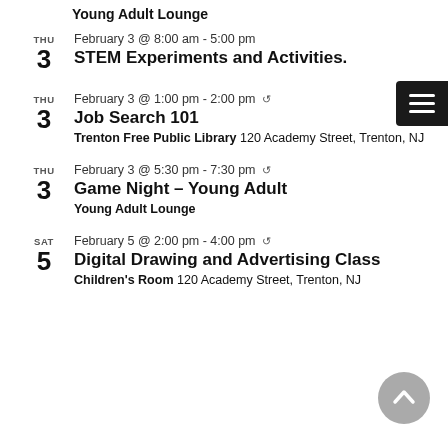Young Adult Lounge
THU 3 | February 3 @ 8:00 am - 5:00 pm | STEM Experiments and Activities.
THU 3 | February 3 @ 1:00 pm - 2:00 pm (recurring) | Job Search 101 | Trenton Free Public Library 120 Academy Street, Trenton, NJ
THU 3 | February 3 @ 5:30 pm - 7:30 pm (recurring) | Game Night – Young Adult | Young Adult Lounge
SAT 5 | February 5 @ 2:00 pm - 4:00 pm (recurring) | Digital Drawing and Advertising Class | Children's Room 120 Academy Street, Trenton, NJ